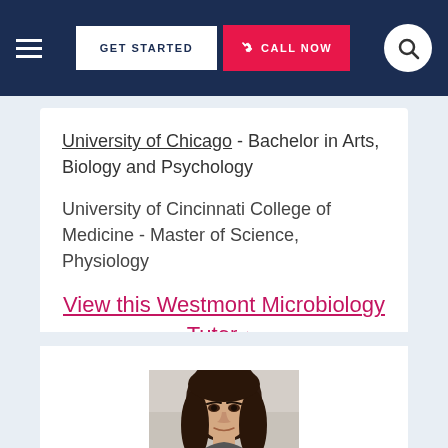GET STARTED | CALL NOW
University of Chicago - Bachelor in Arts, Biology and Psychology
University of Cincinnati College of Medicine - Master of Science, Physiology
View this Westmont Microbiology Tutor ▶
[Figure (photo): Portrait photo of a young woman with long dark hair, photographed from shoulders up with a light background]